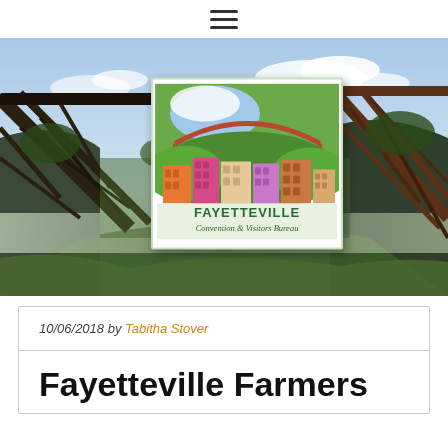≡
[Figure (photo): Aerial photo of the New River Gorge Bridge in Fayetteville, WV with lush green gorge valleys, dramatic sky, two bridge structures visible. The Fayetteville Convention & Visitors Bureau logo card is overlaid in the center of the image, showing a stylized illustration of downtown buildings in orange, pink, beige and brown beneath a green hillside arch bridge.]
10/06/2018 by Tabitha Stover
Fayetteville Farmers